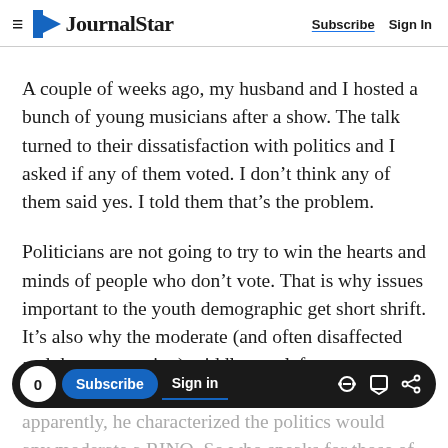JournalStar — Subscribe  Sign In
A couple of weeks ago, my husband and I hosted a bunch of young musicians after a show. The talk turned to their dissatisfaction with politics and I asked if any of them voted. I don't think any of them said yes. I told them that's the problem.
Politicians are not going to try to win the hearts and minds of people who don't vote. That is why issues important to the youth demographic get short shrift. It's also why the moderate (and often disaffected and thus non-voting) middle gets left